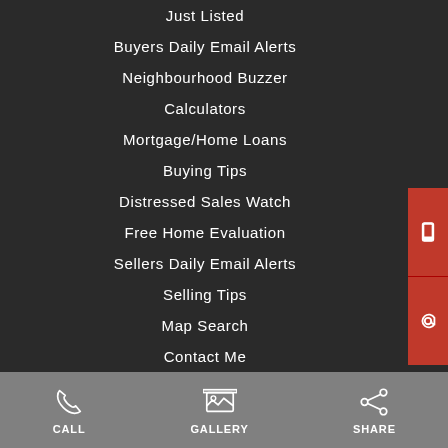Just Listed
Buyers Daily Email Alerts
Neighbourhood Buzzer
Calculators
Mortgage/Home Loans
Buying Tips
Distressed Sales Watch
Free Home Evaluation
Sellers Daily Email Alerts
Selling Tips
Map Search
Contact Me
CALL | GALLERY | SHARE